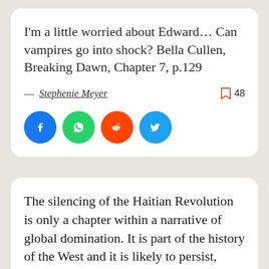I'm a little worried about Edward… Can vampires go into shock? Bella Cullen, Breaking Dawn, Chapter 7, p.129
— Stephenie Meyer
[Figure (infographic): Social sharing icons: Facebook (blue circle), WhatsApp (green circle), Reddit (orange circle), Twitter (blue circle)]
The silencing of the Haitian Revolution is only a chapter within a narrative of global domination. It is part of the history of the West and it is likely to persist, even in attenuated form, as long as the history of the West is not retold in ways that bring forward the perspectives of the world...